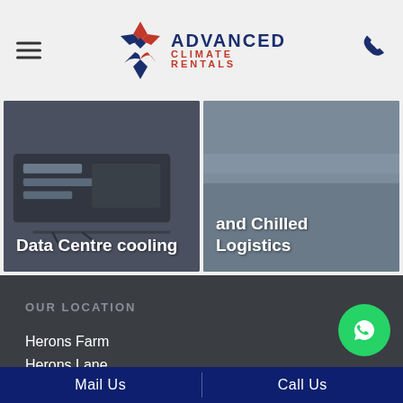[Figure (logo): Advanced Climate Rentals logo with stylized snowflake/star icon and brand name]
[Figure (photo): Data Centre cooling equipment photo with text overlay: Data Centre cooling]
[Figure (photo): Chilled logistics photo with text overlay: and Chilled Logistics]
OUR LOCATION
Herons Farm
Herons Lane
Ongar
Essex
Mail Us | Call Us